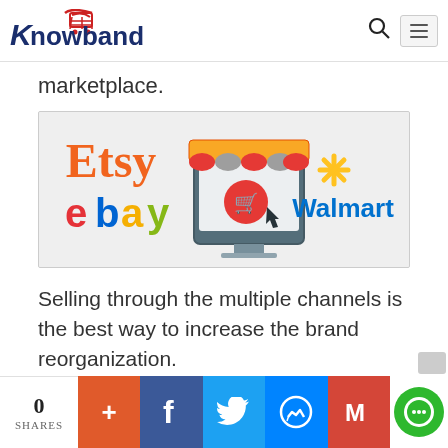Knowband
marketplace.
[Figure (illustration): Illustration showing marketplace logos: Etsy (orange), eBay (multicolor), Walmart (blue with spark), and a central monitor/shop icon with shopping cart]
Selling through the multiple channels is the best way to increase the brand reorganization.
0 SHARES | social share buttons: +, Facebook, Twitter, Messenger, Gmail, Chat